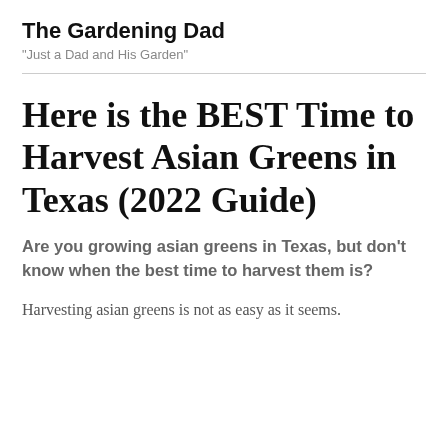The Gardening Dad
"Just a Dad and His Garden"
Here is the BEST Time to Harvest Asian Greens in Texas (2022 Guide)
Are you growing asian greens in Texas, but don't know when the best time to harvest them is?
Harvesting asian greens is not as easy as it seems.